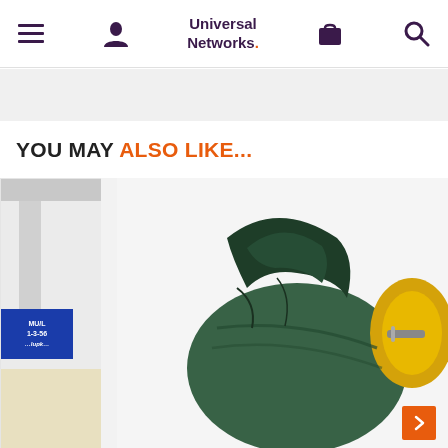Universal Networks. [navigation header with hamburger menu, user icon, logo, cart icon, search icon]
YOU MAY ALSO LIKE...
[Figure (photo): Product showcase strip showing two product cards: left card partially visible with a blue label product, right card showing a green and yellow power cable/connector tool (Fluke or similar) on a light background. Orange next arrow visible at bottom right.]